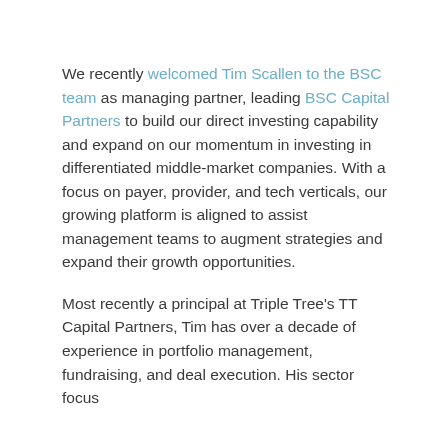We recently welcomed Tim Scallen to the BSC team as managing partner, leading BSC Capital Partners to build our direct investing capability and expand on our momentum in investing in differentiated middle-market companies. With a focus on payer, provider, and tech verticals, our growing platform is aligned to assist management teams to augment strategies and expand their growth opportunities.

Most recently a principal at Triple Tree's TT Capital Partners, Tim has over a decade of experience in portfolio management, fundraising, and deal execution. His sector focus